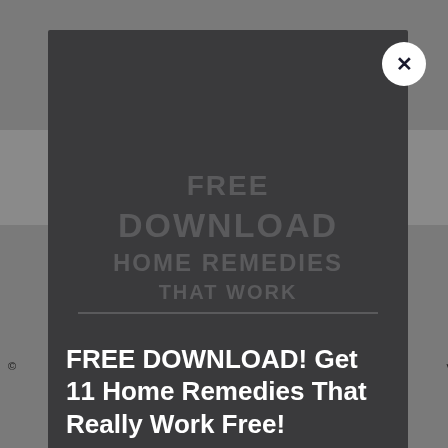[Figure (screenshot): A dark modal popup overlay on a gray website background. The modal has a dark charcoal background with a white circular close button (X) in the top right corner. Inside the modal is a watermark showing 'FREE DOWNLOAD' style text in muted darker text. At the bottom of the modal is white bold text reading 'FREE DOWNLOAD! Get 11 Home Remedies That Really Work Free!'. The background shows a gray website with a horizontal banner strip and partial copyright footer text.]